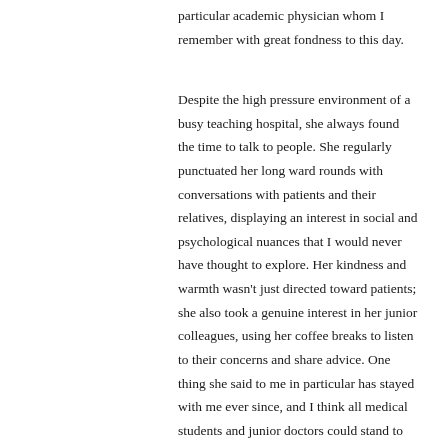particular academic physician whom I remember with great fondness to this day.
Despite the high pressure environment of a busy teaching hospital, she always found the time to talk to people. She regularly punctuated her long ward rounds with conversations with patients and their relatives, displaying an interest in social and psychological nuances that I would never have thought to explore. Her kindness and warmth wasn't just directed toward patients; she also took a genuine interest in her junior colleagues, using her coffee breaks to listen to their concerns and share advice. One thing she said to me in particular has stayed with me ever since, and I think all medical students and junior doctors could stand to benefit from hearing it.